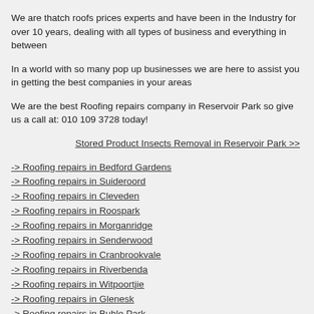We are thatch roofs prices experts and have been in the Industry for over 10 years, dealing with all types of business and everything in between
In a world with so many pop up businesses we are here to assist you in getting the best companies in your areas
We are the best Roofing repairs company in Reservoir Park so give us a call at: 010 109 3728 today!
Stored Product Insects Removal in Reservoir Park >>
-> Roofing repairs in Bedford Gardens
-> Roofing repairs in Suideroord
-> Roofing repairs in Cleveden
-> Roofing repairs in Roospark
-> Roofing repairs in Morganridge
-> Roofing repairs in Senderwood
-> Roofing repairs in Cranbrookvale
-> Roofing repairs in Riverbenda
-> Roofing repairs in Witpoortjie
-> Roofing repairs in Glenesk
-> Roofing repairs in Buhle Park
-> Roofing repairs in Ruimsig
-> Roofing repairs in Klopperpark
-> Roofing repairs in Loondale